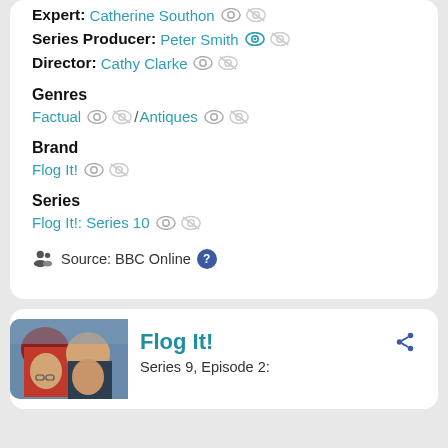Expert: Catherine Southon
Series Producer: Peter Smith
Director: Cathy Clarke
Genres
Factual / Antiques
Brand
Flog It!
Series
Flog It!: Series 10
Source: BBC Online
[Figure (photo): Photo of two people, one wearing a red hat]
Flog It!
Series 9, Episode 2: